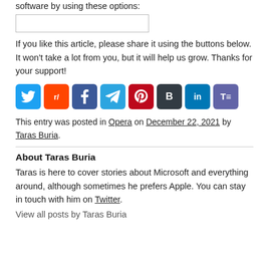software by using these options:
[Figure (other): Search/input text box (empty)]
If you like this article, please share it using the buttons below. It won't take a lot from you, but it will help us grow. Thanks for your support!
[Figure (infographic): Row of 8 social media share buttons: Twitter (blue), Reddit (orange), Facebook (dark blue), Telegram (light blue), Pinterest (red), Buffer (dark gray), LinkedIn (blue), Teams (purple)]
This entry was posted in Opera on December 22, 2021 by Taras Buria.
About Taras Buria
Taras is here to cover stories about Microsoft and everything around, although sometimes he prefers Apple. You can stay in touch with him on Twitter.
View all posts by Taras Buria